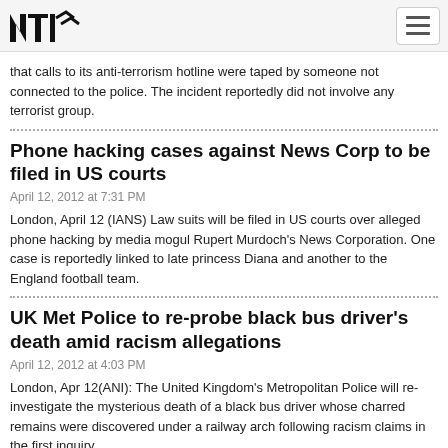NTI logo and navigation
that calls to its anti-terrorism hotline were taped by someone not connected to the police. The incident reportedly did not involve any terrorist group.
Phone hacking cases against News Corp to be filed in US courts
April 12, 2012 at 7:31 PM
London, April 12 (IANS) Law suits will be filed in US courts over alleged phone hacking by media mogul Rupert Murdoch’s News Corporation. One case is reportedly linked to late princess Diana and another to the England football team.
UK Met Police to re-probe black bus driver's death amid racism allegations
April 12, 2012 at 4:03 PM
London, Apr 12(ANI): The United Kingdom's Metropolitan Police will re- investigate the mysterious death of a black bus driver whose charred remains were discovered under a railway arch following racism claims in the first inquiry.
Teen girls' Twitter video raises security fears for Middleton family